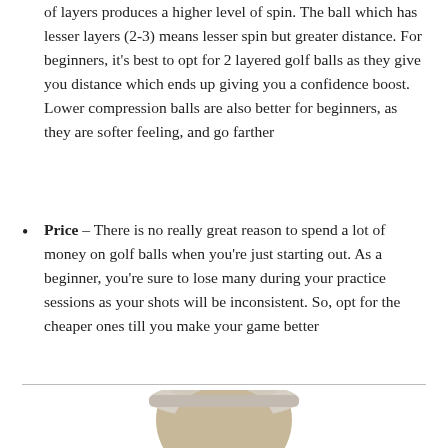of layers produces a higher level of spin. The ball which has lesser layers (2-3) means lesser spin but greater distance. For beginners, it's best to opt for 2 layered golf balls as they give you distance which ends up giving you a confidence boost. Lower compression balls are also better for beginners, as they are softer feeling, and go farther
Price – There is no really great reason to spend a lot of money on golf balls when you're just starting out. As a beginner, you're sure to lose many during your practice sessions as your shots will be inconsistent. So, opt for the cheaper ones till you make your game better
[Figure (photo): Photo of a person wearing a light beige/cream hat, visible from the top of head, cropped at bottom of page]